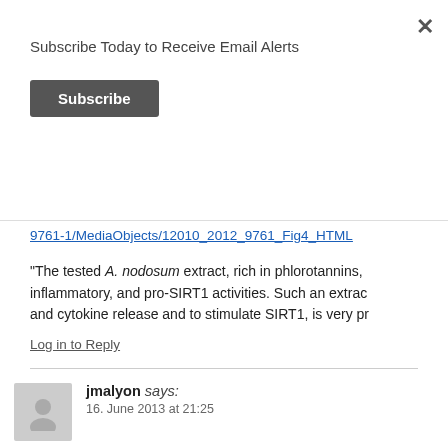Subscribe Today to Receive Email Alerts
Subscribe
9761-1/MediaObjects/12010_2012_9761_Fig4_HTML
“The tested A. nodosum extract, rich in phlorotannins, inflammatory, and pro-SIRT1 activities. Such an extract and cytokine release and to stimulate SIRT1, is very pr
Log in to Reply
jmalyon says:
16. June 2013 at 21:25
“the 6 groups of genes that if silenced, the cell can form mutations”